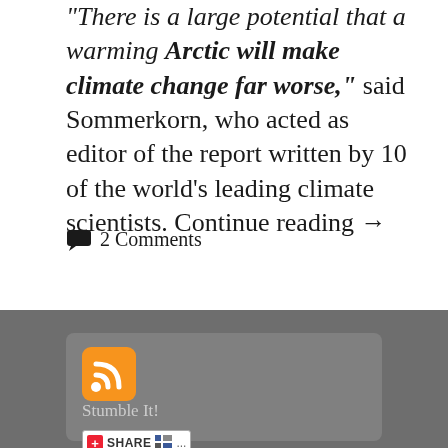“There is a large potential that a warming Arctic will make climate change far worse,” said Sommerkorn, who acted as editor of the report written by 10 of the world’s leading climate scientists. Continue reading →
2 Comments
[Figure (infographic): RSS feed icon (orange square with white wifi signal bars) inside a rounded gray card widget, followed by 'Stumble It!' text and a share bar with plus icon, SHARE label, and social media icons]